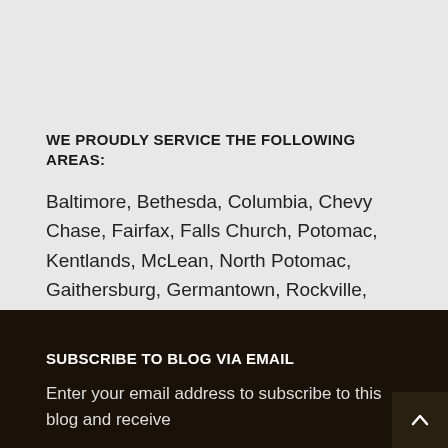WE PROUDLY SERVICE THE FOLLOWING AREAS:
Baltimore, Bethesda, Columbia, Chevy Chase, Fairfax, Falls Church, Potomac, Kentlands, McLean, North Potomac, Gaithersburg, Germantown, Rockville, Reston, Vienna, Washington, D.C. and beyond!
SUBSCRIBE TO BLOG VIA EMAIL
Enter your email address to subscribe to this blog and receive